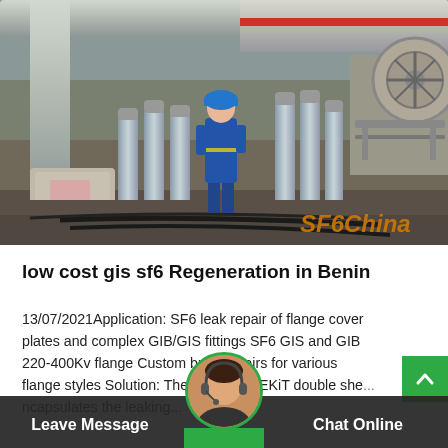[Figure (photo): Industrial SF6 gas handling scene showing a worker in blue coveralls and hard hat standing among gas cylinders and large pipes at an industrial facility. Watermark 'SF6China' in orange text visible at bottom right of photo.]
low cost gis sf6 Regeneration in Benin
13/07/2021Application: SF6 leak repair of flange cover plates and complex GIB/GIS fittings SF6 GIS and GIB 220-400Kv flange Custom build repairs for various flange styles Solution: The REFLANGEKiT double she... ncapsulates the leaking...
Leave Message
Chat Online